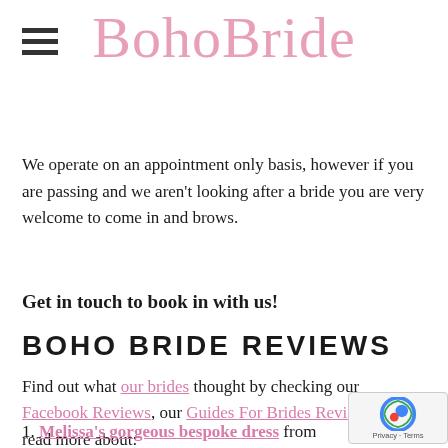[Figure (logo): BohoBride logo in pink cursive/script font]
We operate on an appointment only basis, however if you are passing and we aren't looking after a bride you are very welcome to come in and brows.
Get in touch to book in with us!
BOHO BRIDE REVIEWS
Find out what our brides thought by checking our Facebook Reviews, our Guides For Brides Reviews and read more about:
1. Melissa's gorgeous bespoke dress from